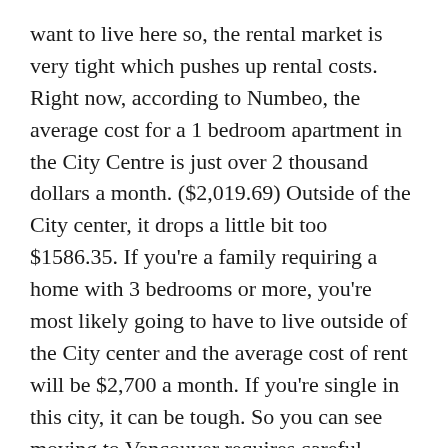want to live here so, the rental market is very tight which pushes up rental costs. Right now, according to Numbeo, the average cost for a 1 bedroom apartment in the City Centre is just over 2 thousand dollars a month. ($2,019.69) Outside of the City center, it drops a little bit too $1586.35. If you're a family requiring a home with 3 bedrooms or more, you're most likely going to have to live outside of the City center and the average cost of rent will be $2,700 a month. If you're single in this city, it can be tough. So you can see moving to Vancouver requires careful planning. You're going to want to crunch the numbers to see whether you can buy or have to rent a home here. I have a great video about the 6 tips to make your move to Vancouver easier and you can find that right here. And just as a comparison, this is what it would cost